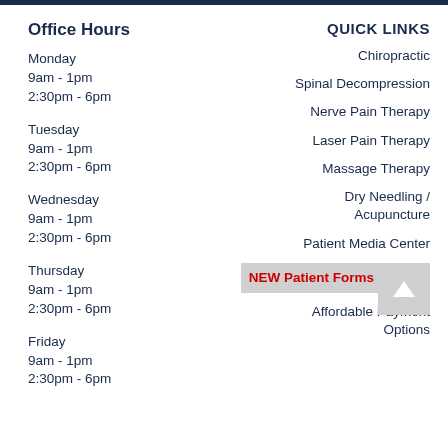Office Hours
Monday
9am - 1pm
2:30pm - 6pm
Tuesday
9am - 1pm
2:30pm - 6pm
Wednesday
9am - 1pm
2:30pm - 6pm
Thursday
9am - 1pm
2:30pm - 6pm
Friday
9am - 1pm
2:30pm - 6pm
QUICK LINKS
Chiropractic
Spinal Decompression
Nerve Pain Therapy
Laser Pain Therapy
Massage Therapy
Dry Needling / Acupuncture
Patient Media Center
NEW Patient Forms
Affordable Payment Options